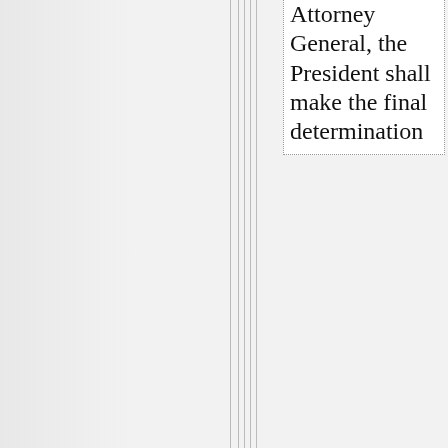Attorney General, the President shall make the final determination
That's one helluva of a slippery slope there.
Christian Bonanno on May 16, 2010 - 11:18am Permalink | Parent | Comments top
Hey ThatsITImount,